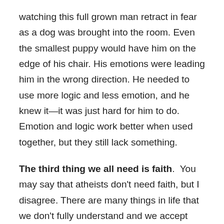watching this full grown man retract in fear as a dog was brought into the room. Even the smallest puppy would have him on the edge of his chair. His emotions were leading him in the wrong direction. He needed to use more logic and less emotion, and he knew it—it was just hard for him to do. Emotion and logic work better when used together, but they still lack something.
The third thing we all need is faith.  You may say that atheists don't need faith, but I disagree. There are many things in life that we don't fully understand and we accept them by faith.  For example, some people may not know how electricity works. You flip the switch on the wall and the light turns on.  That's all